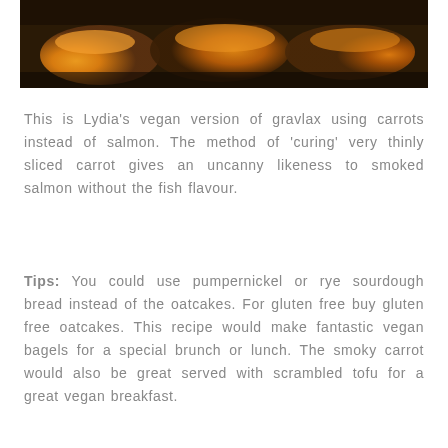[Figure (photo): Close-up photo of food items with orange carrot gravlax on oatcakes, with dark brown background tones]
This is Lydia's vegan version of gravlax using carrots instead of salmon. The method of 'curing' very thinly sliced carrot gives an uncanny likeness to smoked salmon without the fish flavour.
Tips: You could use pumpernickel or rye sourdough bread instead of the oatcakes. For gluten free buy gluten free oatcakes. This recipe would make fantastic vegan bagels for a special brunch or lunch. The smoky carrot would also be great served with scrambled tofu for a great vegan breakfast.